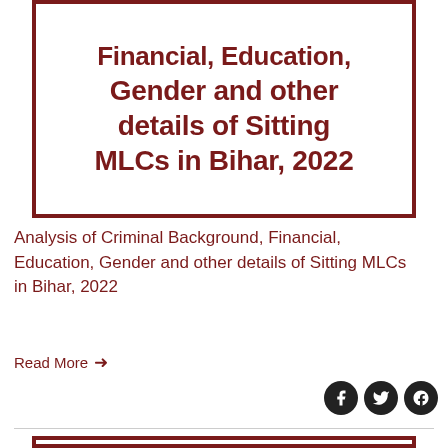[Figure (illustration): Card image with dark red border containing bold dark red text reading 'Financial, Education, Gender and other details of Sitting MLCs in Bihar, 2022' on white background (partially cropped at top)]
Analysis of Criminal Background, Financial, Education, Gender and other details of Sitting MLCs in Bihar, 2022
Read More →
[Figure (illustration): Bottom card image with dark red border, partially visible at bottom of page]